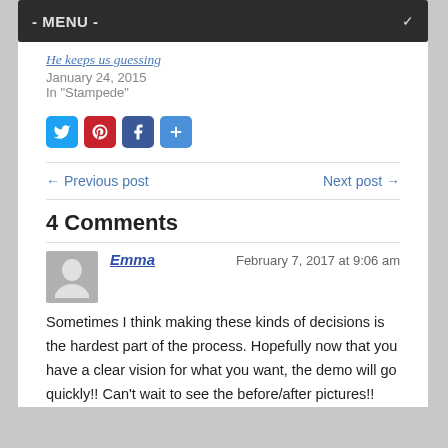- MENU -
He keeps us guessing
January 24, 2015
In "Stampede"
[Figure (other): Social share icons: Twitter (blue), Pinterest (red), Facebook (blue), Share/Plus (blue)]
← Previous post    Next post →
4 Comments
Emma    February 7, 2017 at 9:06 am
Sometimes I think making these kinds of decisions is the hardest part of the process. Hopefully now that you have a clear vision for what you want, the demo will go quickly!! Can't wait to see the before/after pictures!!